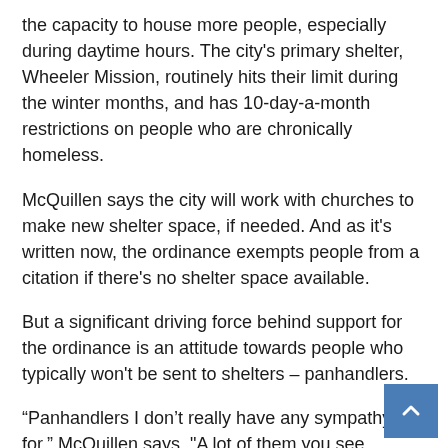the capacity to house more people, especially during daytime hours. The city's primary shelter, Wheeler Mission, routinely hits their limit during the winter months, and has 10-day-a-month restrictions on people who are chronically homeless.
McQuillen says the city will work with churches to make new shelter space, if needed. And as it's written now, the ordinance exempts people from a citation if there's no shelter space available.
But a significant driving force behind support for the ordinance is an attitude towards people who typically won't be sent to shelters – panhandlers.
“Panhandlers I don’t really have any sympathy for,” McQuillen says. "A lot of them you see moving from place to place, and they’re not truly homeless. A lot of them con-people, as far as I’m concerned. And those peop need to be moved along."